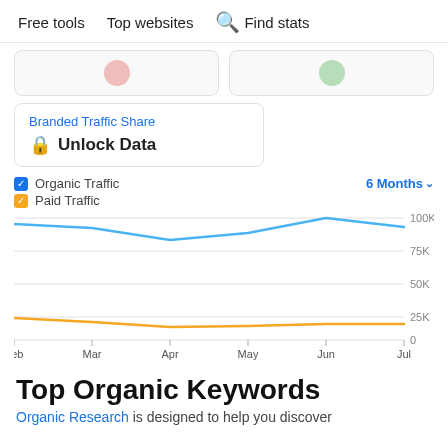Free tools   Top websites   Find stats
Branded Traffic Share
🔒 Unlock Data
[Figure (line-chart): Organic Traffic / Paid Traffic - 6 Months]
Top Organic Keywords
Organic Research is designed to help you discover